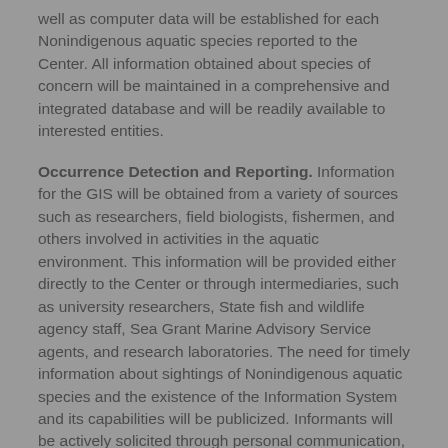well as computer data will be established for each Nonindigenous aquatic species reported to the Center. All information obtained about species of concern will be maintained in a comprehensive and integrated database and will be readily available to interested entities.
Occurrence Detection and Reporting. Information for the GIS will be obtained from a variety of sources such as researchers, field biologists, fishermen, and others involved in activities in the aquatic environment. This information will be provided either directly to the Center or through intermediaries, such as university researchers, State fish and wildlife agency staff, Sea Grant Marine Advisory Service agents, and research laboratories. The need for timely information about sightings of Nonindigenous aquatic species and the existence of the Information System and its capabilities will be publicized. Informants will be actively solicited through personal communication, announcements in professional publications and other media, at technical meetings, in pamphlets, and other appropriate means. Published reports in a broad array of journals and museum collections, a traditional source of information about the presence and